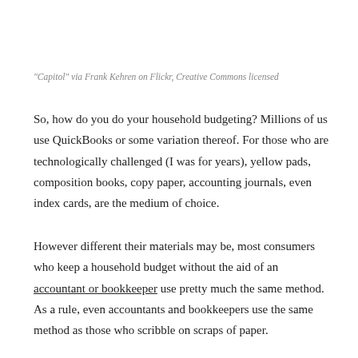"Capitol" via Frank Kehren on Flickr, Creative Commons licensed
So, how do you do your household budgeting? Millions of us use QuickBooks or some variation thereof. For those who are technologically challenged (I was for years), yellow pads, composition books, copy paper, accounting journals, even index cards, are the medium of choice.
However different their materials may be, most consumers who keep a household budget without the aid of an accountant or bookkeeper use pretty much the same method. As a rule, even accountants and bookkeepers use the same method as those who scribble on scraps of paper.